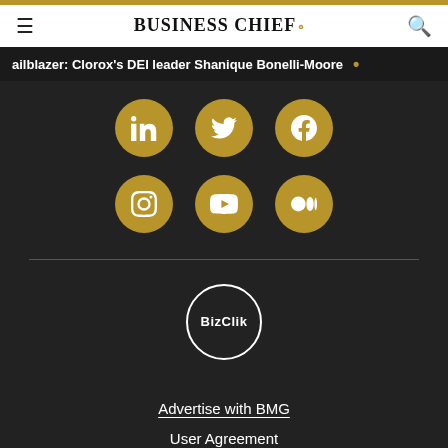BUSINESS CHIEF.
ailblazer: Clorox's DEI leader Shanique Bonelli-Moore
[Figure (infographic): Six golden circular social media icons in two rows: LinkedIn, Twitter, Facebook (top row); Instagram, YouTube, Medium (bottom row) on dark background]
[Figure (logo): BizClik logo in a white circle outline on dark background]
Advertise with BMG
User Agreement